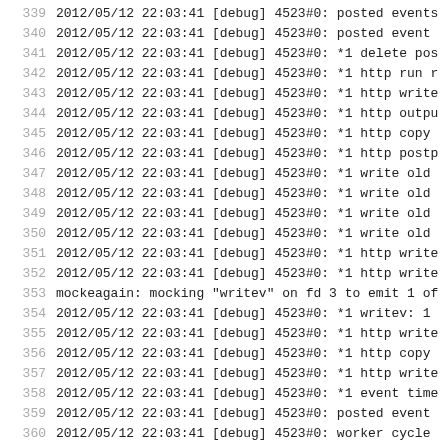339  2012/05/12 22:03:41 [debug] 4523#0: posted events
340  2012/05/12 22:03:41 [debug] 4523#0: posted event
341  2012/05/12 22:03:41 [debug] 4523#0: *1 delete pos
342  2012/05/12 22:03:41 [debug] 4523#0: *1 http run r
343  2012/05/12 22:03:41 [debug] 4523#0: *1 http write
344  2012/05/12 22:03:41 [debug] 4523#0: *1 http outpu
345  2012/05/12 22:03:41 [debug] 4523#0: *1 http copy
346  2012/05/12 22:03:41 [debug] 4523#0: *1 http postp
347  2012/05/12 22:03:41 [debug] 4523#0: *1 write old
348  2012/05/12 22:03:41 [debug] 4523#0: *1 write old
349  2012/05/12 22:03:41 [debug] 4523#0: *1 write old
350  2012/05/12 22:03:41 [debug] 4523#0: *1 write old
351  2012/05/12 22:03:41 [debug] 4523#0: *1 http write
352  2012/05/12 22:03:41 [debug] 4523#0: *1 http write
353  mockeagain: mocking "writev" on fd 3 to emit 1 of
354  2012/05/12 22:03:41 [debug] 4523#0: *1 writev: 1
355  2012/05/12 22:03:41 [debug] 4523#0: *1 http write
356  2012/05/12 22:03:41 [debug] 4523#0: *1 http copy
357  2012/05/12 22:03:41 [debug] 4523#0: *1 http write
358  2012/05/12 22:03:41 [debug] 4523#0: *1 event time
359  2012/05/12 22:03:41 [debug] 4523#0: posted event
360  2012/05/12 22:03:41 [debug] 4523#0: worker cycle